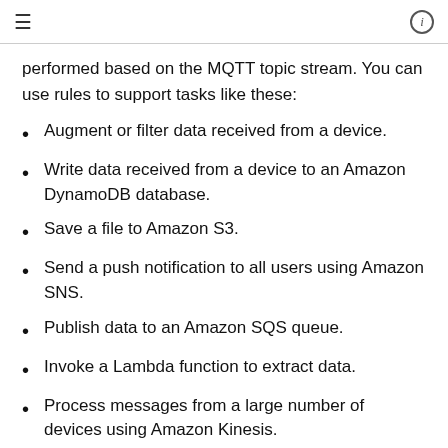≡  ⓘ
performed based on the MQTT topic stream. You can use rules to support tasks like these:
Augment or filter data received from a device.
Write data received from a device to an Amazon DynamoDB database.
Save a file to Amazon S3.
Send a push notification to all users using Amazon SNS.
Publish data to an Amazon SQS queue.
Invoke a Lambda function to extract data.
Process messages from a large number of devices using Amazon Kinesis.
Send data to the Amazon OpenSearch Service.
Capture a CloudWatch metric.
Change a CloudWatch alarm.